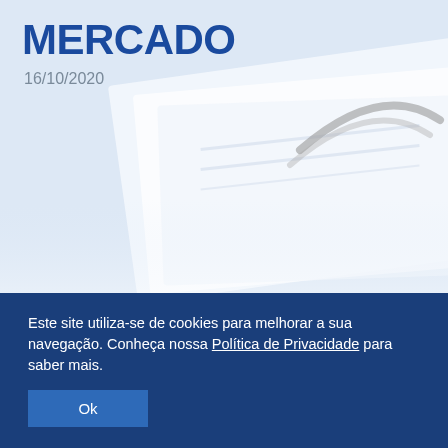[Figure (photo): Background hero image of blurred document pages and glasses, light blue and white tones]
MERCADO
16/10/2020
Este site utiliza-se de cookies para melhorar a sua navegação. Conheça nossa Política de Privacidade para saber mais.
Ok